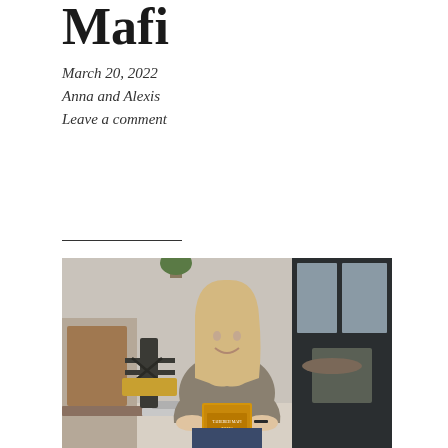Mafi
March 20, 2022
Anna and Alexis
Leave a comment
[Figure (photo): A smiling young woman with long blonde hair sitting in a cafe, holding up a book titled 'This Woven Kingdom' by Tahereh Mafi. She is wearing a grey t-shirt and there is a laptop on the table in front of her. The cafe has dark wooden chairs and large windows in the background.]